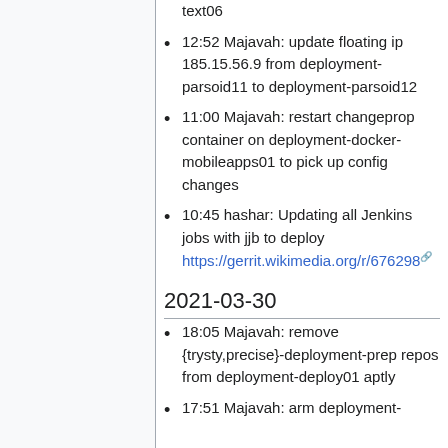text06
12:52 Majavah: update floating ip 185.15.56.9 from deployment-parsoid11 to deployment-parsoid12
11:00 Majavah: restart changeprop container on deployment-docker-mobileapps01 to pick up config changes
10:45 hashar: Updating all Jenkins jobs with jjb to deploy https://gerrit.wikimedia.org/r/676298
2021-03-30
18:05 Majavah: remove {trysty,precise}-deployment-prep repos from deployment-deploy01 aptly
17:51 Majavah: arm deployment-